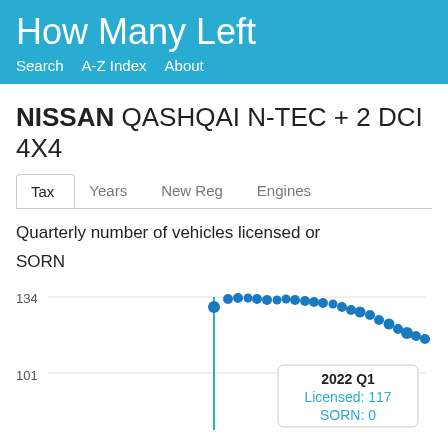How Many Left
NISSAN QASHQAI N-TEC + 2 DCI 4X4
Tax   Years   New Reg   Engines
Quarterly number of vehicles licensed or SORN
[Figure (scatter-plot): Scatter plot showing quarterly licensed/SORN vehicle counts over time. Data rises to a peak around 134 then declines to around 117 by 2022 Q1. A tooltip shows 2022 Q1: Licensed: 117, SORN: 0.]